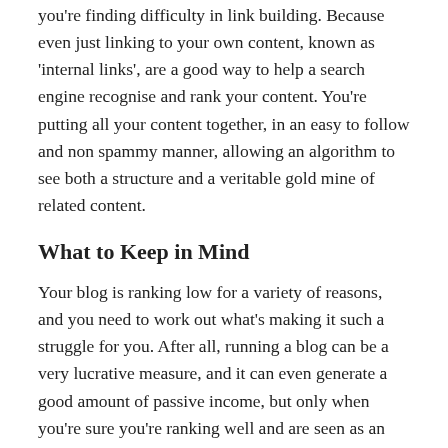you're finding difficulty in link building. Because even just linking to your own content, known as 'internal links', are a good way to help a search engine recognise and rank your content. You're putting all your content together, in an easy to follow and non spammy manner, allowing an algorithm to see both a structure and a veritable gold mine of related content.
What to Keep in Mind
Your blog is ranking low for a variety of reasons, and you need to work out what's making it such a struggle for you. After all, running a blog can be a very lucrative measure, and it can even generate a good amount of passive income, but only when you're sure you're ranking well and are seen as an authority subject.
You don't have a product to shift, after all, and there's a good chance any course or ebooks you release don't speak for themselves just yet. And that means your blog needs to do the